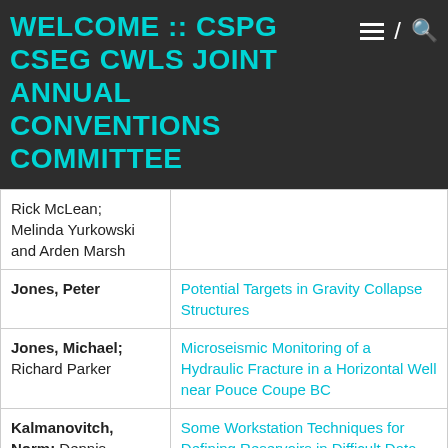WELCOME :: CSPG CSEG CWLS JOINT ANNUAL CONVENTIONS COMMITTEE
| Author | Title |
| --- | --- |
| Rick McLean; Melinda Yurkowski and Arden Marsh |  |
| Jones, Peter | Potential Targets in Gravity Collapse Structures |
| Jones, Michael; Richard Parker | Microseismic Monitoring of a Hydraulic Fracture in a Horizontal Well near Pouce Coupe BC |
| Kalmanovitch, Norm; Dennis Meisinger and Randi Christiansen | Some Workstation Techniques for Defining Reservoirs in Difficult Data Areas |